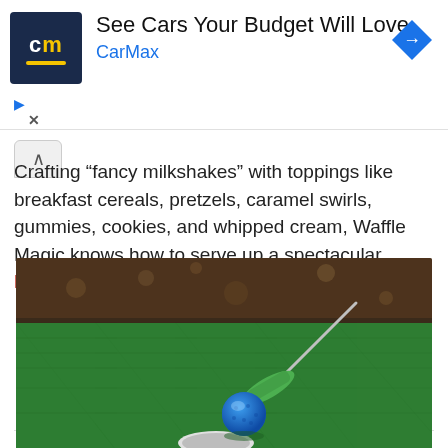[Figure (infographic): CarMax advertisement banner with CarMax logo (dark blue background with 'cm' text in white/yellow) and diamond arrow icon. Text: 'See Cars Your Budget Will Love' and 'CarMax' in blue.]
Crafting “fancy milkshakes” with toppings like breakfast cereals, pretzels, caramel swirls, gummies, cookies, and whipped cream, Waffle Magic knows how to serve up a spectacular… Read More
[Figure (photo): Close-up photo of mini golf: green artificial turf putting green with a blue golf ball near the hole and a bright green putter golf club.]